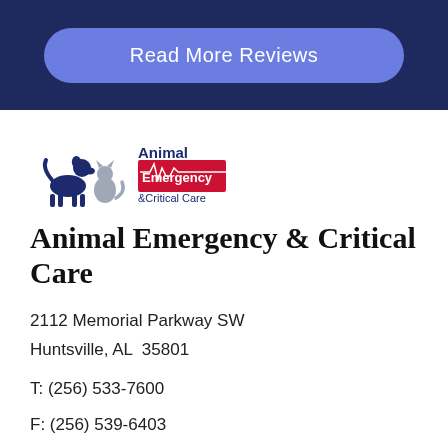Read More Reviews
[Figure (logo): Animal Emergency & Critical Care logo with dog and cat silhouettes and red rectangle with white text]
Animal Emergency & Critical Care
2112 Memorial Parkway SW
Huntsville, AL  35801
T: (256) 533-7600
F: (256) 539-6403